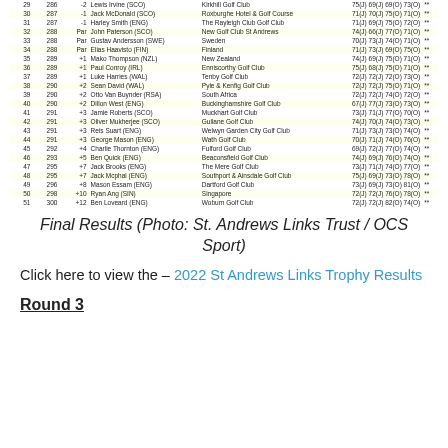| Pos | Score | To Par | Name | Club | Rounds |  |
| --- | --- | --- | --- | --- | --- | --- |
| 29 | 286 | -2 | Lewis Irvine (SCO) | Kirkhill Golf Club | 75(J) 69(J) 69(O) 73(O) | ** |
| 30 | 287 | -1 | Jack McDonald (SCO) | Roxburghe Hotel & Golf Course | 71(J) 70(J) 75(O) 71(O) | ** |
| 31 | 287 | -1 | Harley Smith (ENG) | The Rayleigh Club Golf Club | 71(J) 69(J) 75(O) 72(O) | ** |
| 32 | 288 | Par | John Paterson (SCO) | New Golf Club St Andrews | 74(J) 66(J) 77(O) 71(O) | ** |
| 33 | 288 | Par | Gustav Andersson (SWE) | Sweden | 70(J) 73(J) 74(O) 71(O) | ** |
| 34 | 288 | Par | Elias Haavisto (FIN) | Finland | 71(J) 73(J) 69(O) 75(O) | ** |
| 35 | 289 | +1 | Mako Thompson (NZL) | New Zealand | 74(J) 69(J) 75(O) 71(O) | ** |
| 36 | 289 | +1 | Paul Conroy (IRL) | Enniscorthy Golf Club | 75(J) 68(J) 75(O) 71(O) | ** |
| 37 | 289 | +1 | Luke Harries (WAL) | Tenby Golf Club | 72(J) 72(J) 72(O) 73(O) | ** |
| 38 | 290 | +2 | Sean David (WAL) | Pyle & Kenfig Golf Club | 72(J) 72(J) 75(O) 71(O) | ** |
| 39 | 290 | +2 | Otto Van Buynder (RSA) | South Africa | 72(J) 72(J) 74(O) 72(O) | ** |
| 40 | 290 | +2 | Dillon West (ENG) | Buckinghamshire Golf Club | 67(J) 77(J) 73(O) 73(O) | ** |
| 41 | 291 | +3 | Jamie Roberts (SCO) | Muckhart Golf Club | 73(J) 71(J) 77(O) 70(O) | ** |
| 42 | 291 | +3 | Oliver Mukherjee (SCO) | Gullane Golf Club | 74(J) 70(J) 74(O) 73(O) | ** |
| 43 | 291 | +3 | Reis Suart (ENG) | Welwyn Garden City Golf Club | 71(J) 73(J) 73(O) 74(O) | ** |
| 44 | 291 | +3 | George Mason (ENG) | Wath Golf Club | 70(J) 71(J) 74(O) 76(O) | ** |
| 45 | 292 | +4 | Charlie Thornton (ENG) | Fulford Golf Club | 69(J) 72(J) 77(O) 74(O) | ** |
| 46 | 293 | +5 | Ben Quick (ENG) | Beaconsfield Golf Club | 74(J) 69(J) 76(O) 74(O) | ** |
| 47 | 295 | +7 | Jack Brooks (ENG) | The Mere Golf Club | 73(J) 71(J) 74(O) 77(O) | ** |
| 48 | 295 | +7 | Jack Mcphal (ENG) | Southport & Ainsdale Golf Club | 75(J) 69(J) 73(O) 78(O) | ** |
| 49 | 296 | +8 | Mason Essam (ENG) | Dartford Golf Club | 73(J) 69(J) 73(O) 81(O) | ** |
| 50 | 298 | +10 | Ryan Ang (SIN) | Singapore | 72(J) 72(J) 76(O) 78(O) | ** |
| 51 | 300 | +12 | Ben Loveard (ENG) | Woburn Golf Club | 72(J) 72(J) 82(O) 74(O) | ** |
Final Results (Photo: St. Andrews Links Trust / OCS Sport)
Click here to view the – 2022 St Andrews Links Trophy Results
Round 3